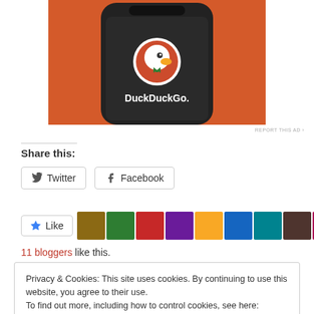[Figure (screenshot): DuckDuckGo app advertisement showing a smartphone with DuckDuckGo logo on an orange background]
REPORT THIS AD
Share this:
Twitter
Facebook
Like
11 bloggers like this.
Privacy & Cookies: This site uses cookies. By continuing to use this website, you agree to their use.
To find out more, including how to control cookies, see here: Cookie Policy
Close and accept